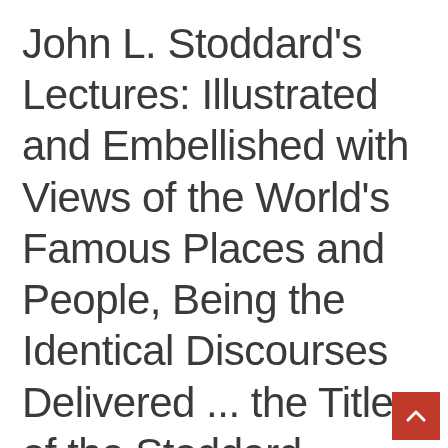John L. Stoddard's Lectures: Illustrated and Embellished with Views of the World's Famous Places and People, Being the Identical Discourses Delivered ... the Title of the Stoddard Lectures, Volume 6